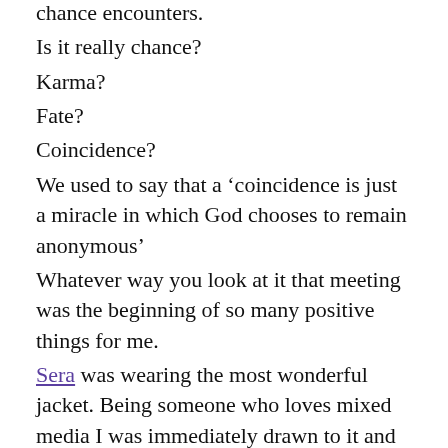chance encounters.
Is it really chance?
Karma?
Fate?
Coincidence?
We used to say that a ‘coincidence is just a miracle in which God chooses to remain anonymous’
Whatever way you look at it that meeting was the beginning of so many positive things for me.
Sera was wearing the most wonderful jacket. Being someone who loves mixed media I was immediately drawn to it and to the message it was portraying.
‘Be Still My Sacred Heart’
That resonated so loudly in my damaged and